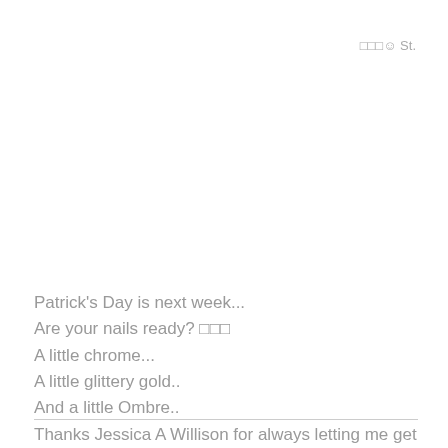□□□☺ St.
Patrick's Day is next week...
Are your nails ready? □□□
A little chrome...
A little glittery gold..
And a little Ombre..
Thanks Jessica A Willison for always letting me get creative.